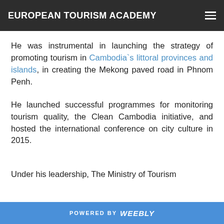EUROPEAN TOURISM ACADEMY
He was instrumental in launching the strategy of promoting tourism in Cambodia`s littoral provinces and islands, in creating the Mekong paved road in Phnom Penh.
He launched successful programmes for monitoring tourism quality, the Clean Cambodia initiative, and hosted the international conference on city culture in 2015.
Under his leadership, The Ministry of Tourism
POWERED BY Weebly